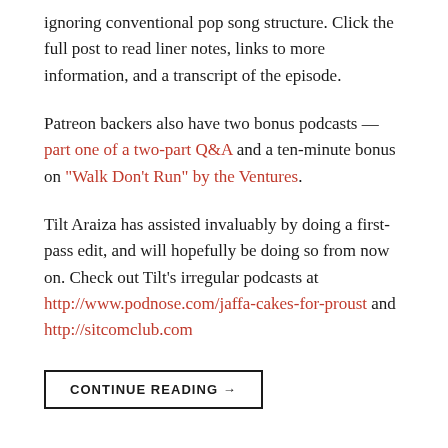ignoring conventional pop song structure. Click the full post to read liner notes, links to more information, and a transcript of the episode.
Patreon backers also have two bonus podcasts — part one of a two-part Q&A and a ten-minute bonus on "Walk Don't Run" by the Ventures.
Tilt Araiza has assisted invaluably by doing a first-pass edit, and will hopefully be doing so from now on. Check out Tilt's irregular podcasts at http://www.podnose.com/jaffa-cakes-for-proust and http://sitcomclub.com
CONTINUE READING →